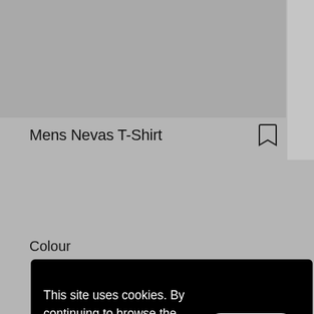[Figure (screenshot): Top portion of a retail product page showing a gray image area for product photo]
Mens Nevas T-Shirt
[Figure (illustration): Bookmark/save icon (outline bookmark shape) in top right]
Colour
This site uses cookies. By continuing to browse the site you are agreeing to our use of cookies. More Info
[Figure (screenshot): Size selector buttons: XS (selected, black), S, M, L, XL]
Low stock
Add to Bag
[Figure (illustration): Sustainability/organic icon at bottom of page]